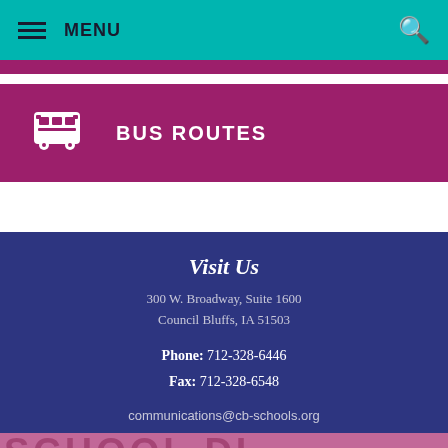MENU
[Figure (infographic): Bus Routes button with school bus icon on magenta/pink background]
Visit Us
300 W. Broadway, Suite 1600
Council Bluffs, IA 51503
Phone: 712-328-6446
Fax: 712-328-6548
communications@cb-schools.org
SITE MAP